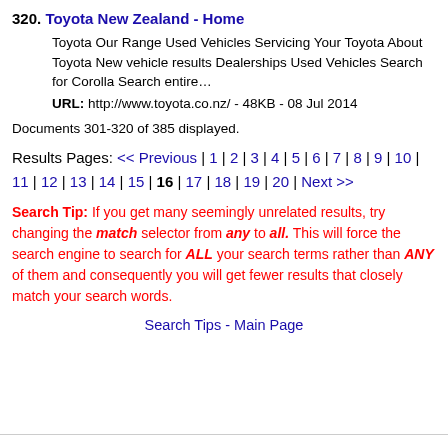320. Toyota New Zealand - Home
Toyota Our Range Used Vehicles Servicing Your Toyota About Toyota New vehicle results Dealerships Used Vehicles Search for Corolla Search entire…
URL: http://www.toyota.co.nz/ - 48KB - 08 Jul 2014
Documents 301-320 of 385 displayed.
Results Pages: << Previous | 1 | 2 | 3 | 4 | 5 | 6 | 7 | 8 | 9 | 10 | 11 | 12 | 13 | 14 | 15 | 16 | 17 | 18 | 19 | 20 | Next >>
Search Tip: If you get many seemingly unrelated results, try changing the match selector from any to all. This will force the search engine to search for ALL your search terms rather than ANY of them and consequently you will get fewer results that closely match your search words.
Search Tips - Main Page